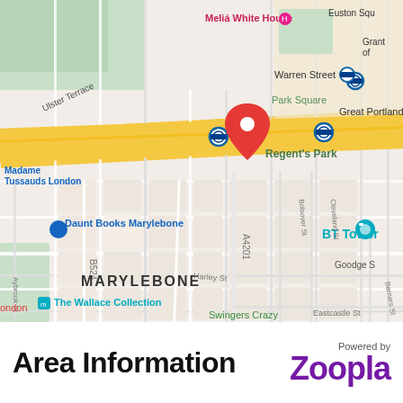[Figure (map): Google Maps screenshot showing the Marylebone area of London, with landmarks including Regent's Park, Great Portland Street station, Warren Street station, Euston Square, BT Tower, Daunt Books Marylebone, The Wallace Collection, The Cartoon Museum, Madame Tussauds London, Meliá White House hotel, and streets including A4201, B524, Harley St, Bolsover St, Cleveland St, Foley St, Ulster Terrace, Aybrook St, Berners St, Eastcastle St. A red location pin is placed near Regent's Park station.]
Area Information
Powered by Zoopla